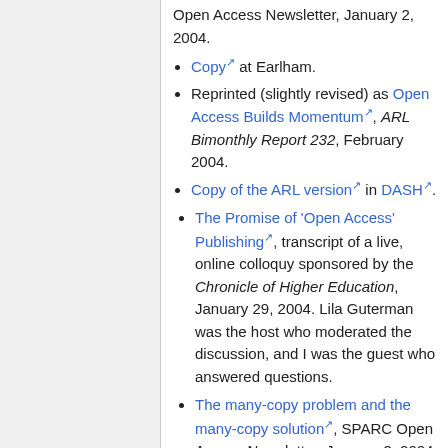Open Access Newsletter, January 2, 2004.
Copy at Earlham.
Reprinted (slightly revised) as Open Access Builds Momentum, ARL Bimonthly Report 232, February 2004.
Copy of the ARL version in DASH.
The Promise of 'Open Access' Publishing, transcript of a live, online colloquy sponsored by the Chronicle of Higher Education, January 29, 2004. Lila Guterman was the host who moderated the discussion, and I was the guest who answered questions.
The many-copy problem and the many-copy solution, SPARC Open Access Newsletter, January 2, 2004.